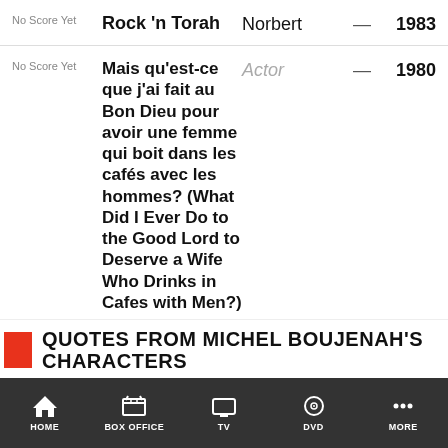| Score | Title | Role |  | Year |
| --- | --- | --- | --- | --- |
| No Score Yet | Rock 'n Torah | Norbert | — | 1983 |
| No Score Yet | Mais qu'est-ce que j'ai fait au Bon Dieu pour avoir une femme qui boit dans les cafés avec les hommes? (What Did I Ever Do to the Good Lord to Deserve a Wife Who Drinks in Cafes with Men?) | Actor | — | 1980 |
QUOTES FROM MICHEL BOUJENAH'S CHARACTERS
HOME   BOX OFFICE   TV   DVD   MORE